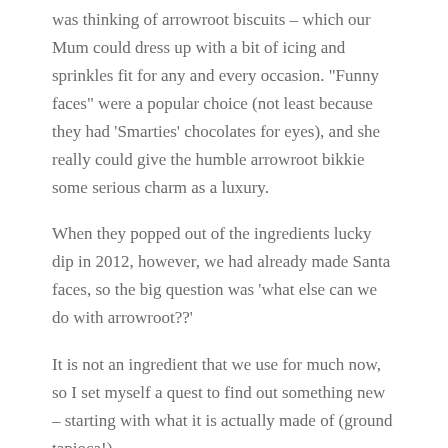was thinking of arrowroot biscuits – which our Mum could dress up with a bit of icing and sprinkles fit for any and every occasion. "Funny faces" were a popular choice (not least because they had 'Smarties' chocolates for eyes), and she really could give the humble arrowroot bikkie some serious charm as a luxury.
When they popped out of the ingredients lucky dip in 2012, however, we had already made Santa faces, so the big question was 'what else can we do with arrowroot??'
It is not an ingredient that we use for much now, so I set myself a quest to find out something new – starting with what it is actually made of (ground tapioca!).
The answer was – gluten free pastry.  This turned out to be pretty much the easiest and tastiest pastry case I have made